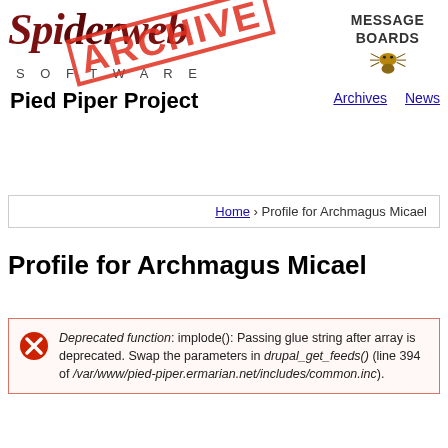[Figure (logo): Spiderweb Software logo with ARCHIVE stamp overlay, and Message Boards text with spider icon on the right]
Archives   News
Pied Piper Project
Home › Profile for Archmagus Micael
Profile for Archmagus Micael
Deprecated function: implode(): Passing glue string after array is deprecated. Swap the parameters in drupal_get_feeds() (line 394 of /var/www/pied-piper.ermarian.net/includes/common.inc).